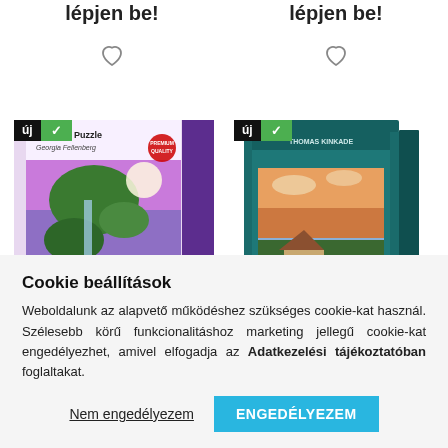lépjen be!
lépjen be!
[Figure (photo): Schmidt Puzzle box with fantasy dragon/floating island artwork, 1000 pieces, labeled 'Schmidt Puzzle Georgia Fellenberg', with 'új' (new) badge and green checkmark badge]
[Figure (photo): Teal puzzle/game box with scenic cottage painting, labeled with 'új' (new) badge and green checkmark badge]
Cookie beállítások
Weboldalunk az alapvető működéshez szükséges cookie-kat használ. Szélesebb körű funkcionalitáshoz marketing jellegű cookie-kat engedélyezhet, amivel elfogadja az Adatkezelési tájékoztatóban foglaltakat.
Nem engedélyezem
ENGEDÉLYEZEM